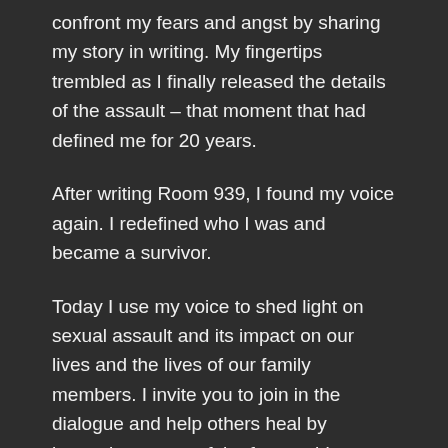confront my fears and angst by sharing my story in writing. My fingertips trembled as I finally released the details of the assault – that moment that had defined me for 20 years.
After writing Room 939, I found my voice again. I redefined who I was and became a survivor.
Today I use my voice to shed light on sexual assault and its impact on our lives and the lives of our family members. I invite you to join in the dialogue and help others heal by becoming aware of the far-reaching impact of sexual violence.
Please invite me to come speak to your group.